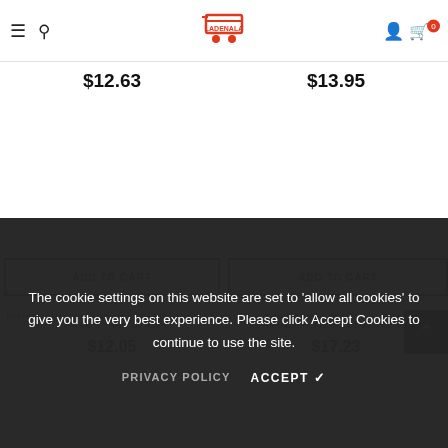Navigation header with hamburger menu, search icon, logo, user icon, and cart (0)
$12.63
$13.95
ADD TO CART
ADD TO CART
Blend & Groom Beard - All Ages, Character, Facial & Thick of Kin
$12.05
$17.23
The cookie settings on this website are set to 'allow all cookies' to give you the very best experience. Please click Accept Cookies to continue to use the site.
PRIVACY POLICY
ACCEPT ✔